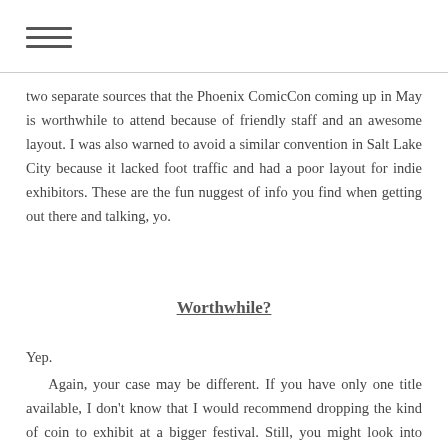≡
two separate sources that the Phoenix ComicCon coming up in May is worthwhile to attend because of friendly staff and an awesome layout. I was also warned to avoid a similar convention in Salt Lake City because it lacked foot traffic and had a poor layout for indie exhibitors. These are the fun nuggest of info you find when getting out there and talking, yo.
Worthwhile?
Yep.
Again, your case may be different. If you have only one title available, I don't know that I would recommend dropping the kind of coin to exhibit at a bigger festival. Still, you might look into getting your feet wet by exhibiting at a smaller festival with a more manageable price for your budget as a test run. Some offer Artist Alley tables, or half day exhibiting passes